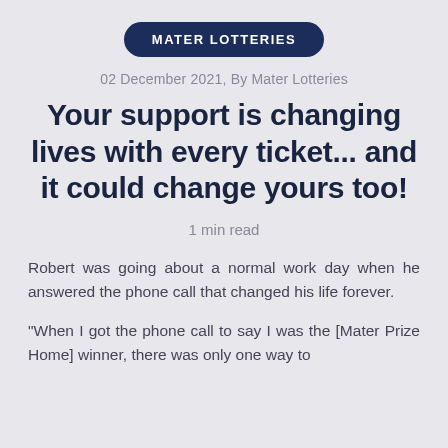MATER LOTTERIES
02 December 2021, By Mater Lotteries
Your support is changing lives with every ticket... and it could change yours too!
1 min read
Robert was going about a normal work day when he answered the phone call that changed his life forever.
“When I got the phone call to say I was the [Mater Prize Home] winner, there was only one way to